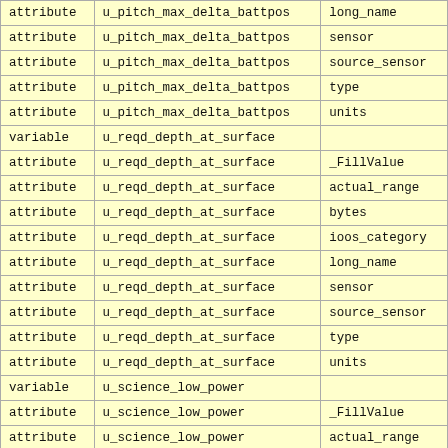|  |  |  |
| --- | --- | --- |
| attribute | u_pitch_max_delta_battpos | long_name |
| attribute | u_pitch_max_delta_battpos | sensor |
| attribute | u_pitch_max_delta_battpos | source_sensor |
| attribute | u_pitch_max_delta_battpos | type |
| attribute | u_pitch_max_delta_battpos | units |
| variable | u_reqd_depth_at_surface |  |
| attribute | u_reqd_depth_at_surface | _FillValue |
| attribute | u_reqd_depth_at_surface | actual_range |
| attribute | u_reqd_depth_at_surface | bytes |
| attribute | u_reqd_depth_at_surface | ioos_category |
| attribute | u_reqd_depth_at_surface | long_name |
| attribute | u_reqd_depth_at_surface | sensor |
| attribute | u_reqd_depth_at_surface | source_sensor |
| attribute | u_reqd_depth_at_surface | type |
| attribute | u_reqd_depth_at_surface | units |
| variable | u_science_low_power |  |
| attribute | u_science_low_power | _FillValue |
| attribute | u_science_low_power | actual_range |
| attribute | u_science_low_power | bytes |
| attribute | u_science_low_power | ioos_category |